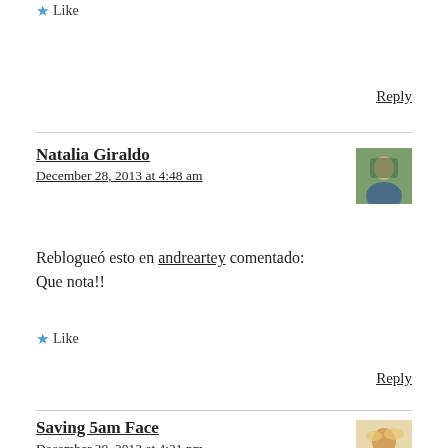Like
Reply
Natalia Giraldo
December 28, 2013 at 4:48 am
Reblogueó esto en andreartey comentado:
Que nota!!
Like
Reply
Saving 5am Face
December 30, 2013 at 4:21 pm